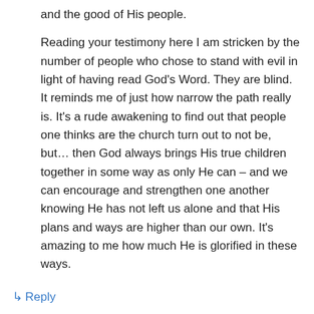and the good of His people.

Reading your testimony here I am stricken by the number of people who chose to stand with evil in light of having read God's Word. They are blind. It reminds me of just how narrow the path really is. It's a rude awakening to find out that people one thinks are the church turn out to not be, but… then God always brings His true children together in some way as only He can – and we can encourage and strengthen one another knowing He has not left us alone and that His plans and ways are higher than our own. It's amazing to me how much He is glorified in these ways.
↳ Reply